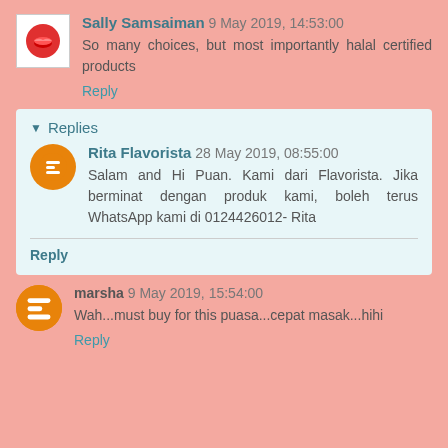Sally Samsaiman 9 May 2019, 14:53:00
So many choices, but most importantly halal certified products
Reply
Replies
Rita Flavorista 28 May 2019, 08:55:00
Salam and Hi Puan. Kami dari Flavorista. Jika berminat dengan produk kami, boleh terus WhatsApp kami di 0124426012- Rita
Reply
marsha 9 May 2019, 15:54:00
Wah...must buy for this puasa...cepat masak...hihi
Reply